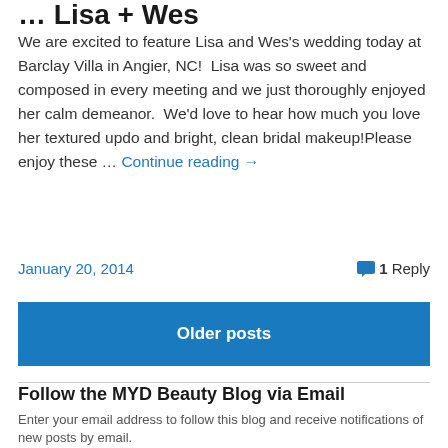… Lisa + Wes
We are excited to feature Lisa and Wes's wedding today at Barclay Villa in Angier, NC!  Lisa was so sweet and composed in every meeting and we just thoroughly enjoyed her calm demeanor.  We'd love to hear how much you love her textured updo and bright, clean bridal makeup!Please enjoy these … Continue reading →
January 20, 2014    1 Reply
Older posts
Follow the MYD Beauty Blog via Email
Enter your email address to follow this blog and receive notifications of new posts by email.